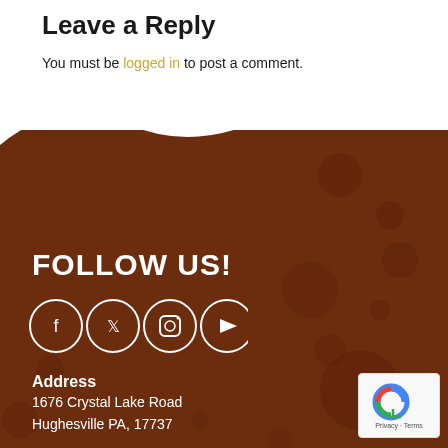Leave a Reply
You must be logged in to post a comment.
FOLLOW US!
[Figure (illustration): Four social media icons (Facebook, Twitter, Instagram, YouTube) in white circles on brown background]
Address
1676 Crystal Lake Road
Hughesville PA, 17737
[Figure (logo): Google reCAPTCHA badge with Privacy and Terms links]